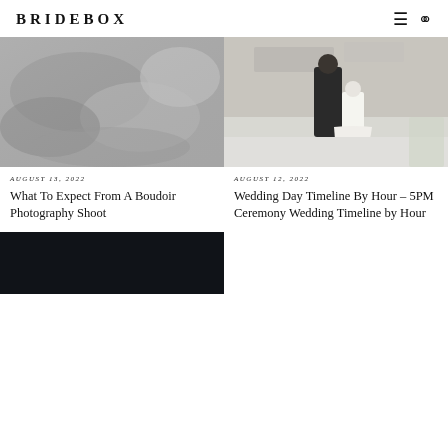BRIDEBOX
[Figure (photo): Black and white boudoir photography image showing soft blurred fabric/body]
AUGUST 13, 2022
What To Expect From A Boudoir Photography Shoot
[Figure (photo): Wedding couple photo: bride in white gown and groom in dark suit standing in front of a building]
AUGUST 12, 2022
Wedding Day Timeline By Hour – 5PM Ceremony Wedding Timeline by Hour
[Figure (photo): Dark/nighttime or dimly lit photograph at bottom left of page]